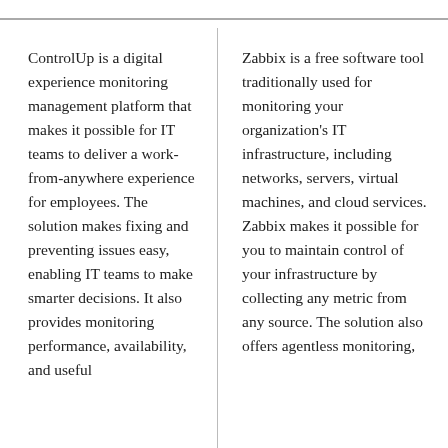ControlUp is a digital experience monitoring management platform that makes it possible for IT teams to deliver a work-from-anywhere experience for employees. The solution makes fixing and preventing issues easy, enabling IT teams to make smarter decisions. It also provides monitoring performance, availability, and useful
Zabbix is a free software tool traditionally used for monitoring your organization's IT infrastructure, including networks, servers, virtual machines, and cloud services. Zabbix makes it possible for you to maintain control of your infrastructure by collecting any metric from any source. The solution also offers agentless monitoring,